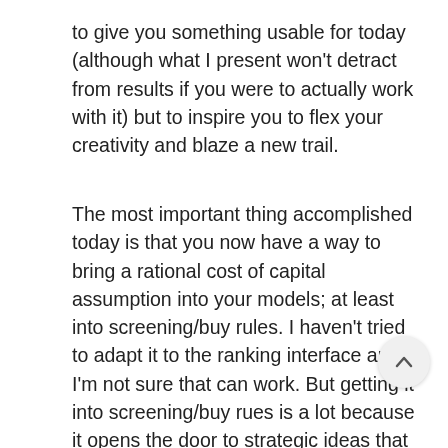to give you something usable for today (although what I present won't detract from results if you were to actually work with it) but to inspire you to flex your creativity and blaze a new trail.
The most important thing accomplished today is that you now have a way to bring a rational cost of capital assumption into your models; at least into screening/buy rules. I haven't tried to adapt it to the ranking interface and I'm not sure that can work. But getting it into screening/buy rues is a lot because it opens the door to strategic ideas that had up till now seemed out of the question for p123. As many of you know, the benefits of opening the door to strategies that require cost of capital can be quite considerable. In my opinion, these benefits far outweigh the disadvantages that flow through my generous use of spit and chewing gum (similar to the adage about it